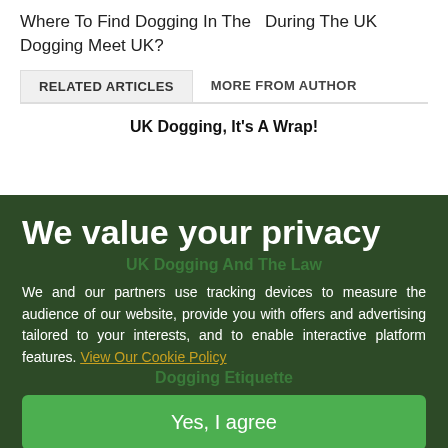Where To Find Dogging In The   During The UK Dogging Meet UK?
RELATED ARTICLES    MORE FROM AUTHOR
UK Dogging, It's A Wrap!
We value your privacy
UK Dogging And The Law
We and our partners use tracking devices to measure the audience of our website, provide you with offers and advertising tailored to your interests, and to enable interactive platform features. View Our Cookie Policy
Dogging Etiquette
Yes, I agree
If you do not agree, please discontinue use of the site